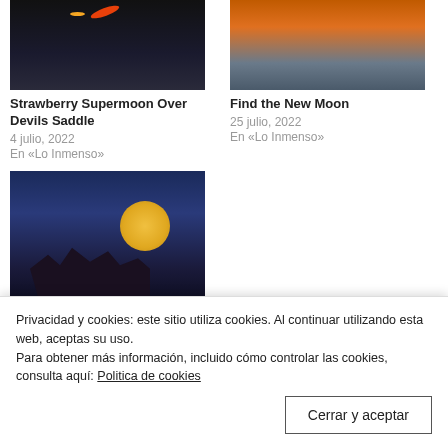[Figure (photo): Night sky photo with city lights, meteor/firework streak in orange-red, dark buildings below — Strawberry Supermoon Over Devils Saddle]
[Figure (photo): Orange sunset sky over calm water — Find the New Moon]
Strawberry Supermoon Over Devils Saddle
4 julio, 2022
En «Lo Inmenso»
Find the New Moon
25 julio, 2022
En «Lo Inmenso»
[Figure (photo): Full golden moon rising over a dark hilltop castle silhouette against deep blue twilight sky — Lubovna Full Moon]
Lubovna Full Moon
Privacidad y cookies: este sitio utiliza cookies. Al continuar utilizando esta web, aceptas su uso.
Para obtener más información, incluido cómo controlar las cookies, consulta aquí: Politica de cookies
Cerrar y aceptar